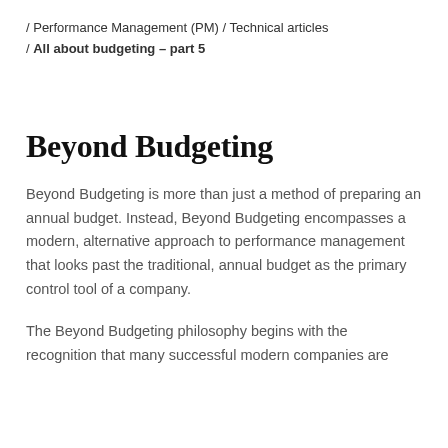/ Performance Management (PM) / Technical articles / All about budgeting – part 5
Beyond Budgeting
Beyond Budgeting is more than just a method of preparing an annual budget. Instead, Beyond Budgeting encompasses a modern, alternative approach to performance management that looks past the traditional, annual budget as the primary control tool of a company.
The Beyond Budgeting philosophy begins with the recognition that many successful modern companies are moving away from traditional annual budgeting approaches.